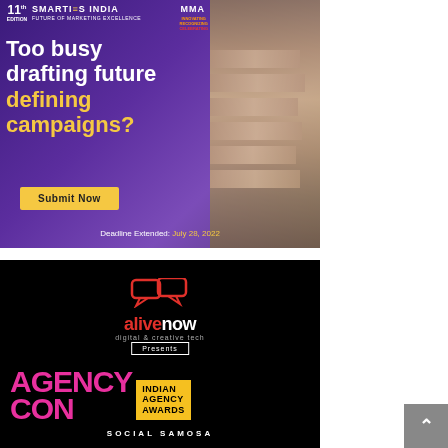[Figure (illustration): MMA Smarties India 11th Edition award advertisement with purple background, trophy image, headline 'Too busy drafting future defining campaigns?', Submit Now button, deadline July 28 2022]
[Figure (illustration): AlivNow Digital & Creative Tech presents AgencyCon Indian Agency Awards advertisement on black background with Social Samosa branding]